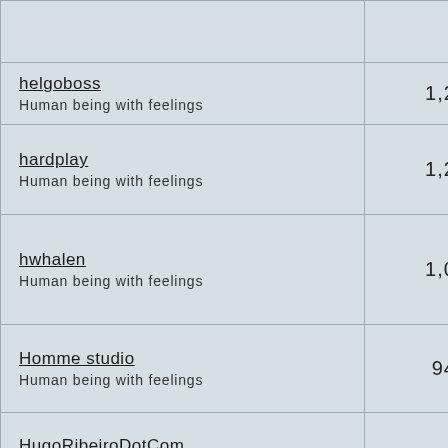| User | Count |
| --- | --- |
|  |  |
| helgoboss
Human being with feelings | 1,24 |
| hardplay
Human being with feelings | 1,20 |
| hwhalen
Human being with feelings | 1,01 |
| Homme studio
Human being with feelings | 945 |
| HugoRibeiroDotCom
Human being with feelings | 944 |